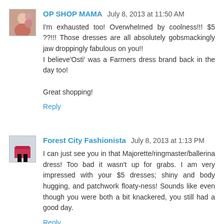[Figure (photo): Small avatar photo of OP SHOP MAMA, showing a woman with a child]
OP SHOP MAMA  July 8, 2013 at 11:50 AM
I'm exhausted too! Overwhelmed by coolness!!! $5 ??!!! Those dresses are all absolutely gobsmackingly jaw droppingly fabulous on you!!
I believe'Osti' was a Farmers dress brand back in the day too!

Great shopping!
Reply
[Figure (photo): Small avatar photo of Forest City Fashionista, showing a person in a red skirt and black tights]
Forest City Fashionista  July 8, 2013 at 1:13 PM
I can just see you in that Majorette/ringmaster/ballerina dress! Too bad it wasn't up for grabs. I am very impressed with your $5 dresses; shiny and body hugging, and patchwork floaty-ness! Sounds like even though you were both a bit knackered, you still had a good day.
Reply